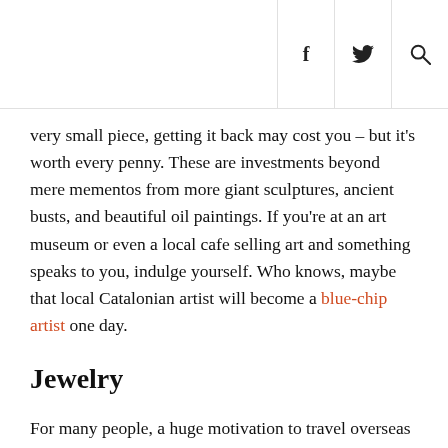f  ♦  🔍
very small piece, getting it back may cost you – but it's worth every penny. These are investments beyond mere mementos from more giant sculptures, ancient busts, and beautiful oil paintings. If you're at an art museum or even a local cafe selling art and something speaks to you, indulge yourself. Who knows, maybe that local Catalonian artist will become a blue-chip artist one day.
Jewelry
For many people, a huge motivation to travel overseas is to purchase rare stones at a significantly lower price point than it would be in the states. The closer you are to where a gem is mined, the more affordable it will be, even if it's still tens of thousands of dollars. If you don't want to buy loose stones to have them set in something back home, investing in fine jewelry on your vacation will always be smart.